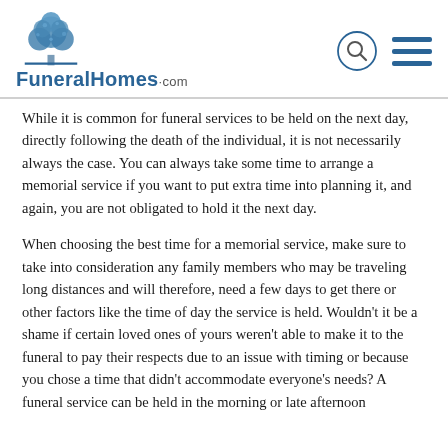FuneralHomes.com
While it is common for funeral services to be held on the next day, directly following the death of the individual, it is not necessarily always the case. You can always take some time to arrange a memorial service if you want to put extra time into planning it, and again, you are not obligated to hold it the next day.
When choosing the best time for a memorial service, make sure to take into consideration any family members who may be traveling long distances and will therefore, need a few days to get there or other factors like the time of day the service is held. Wouldn't it be a shame if certain loved ones of yours weren't able to make it to the funeral to pay their respects due to an issue with timing or because you chose a time that didn't accommodate everyone's needs? A funeral service can be held in the morning or late afternoon